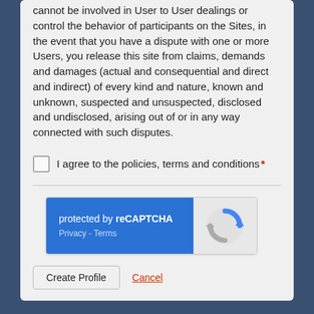cannot be involved in User to User dealings or control the behavior of participants on the Sites, in the event that you have a dispute with one or more Users, you release this site from claims, demands and damages (actual and consequential and direct and indirect) of every kind and nature, known and unknown, suspected and unsuspected, disclosed and undisclosed, arising out of or in any way connected with such disputes.
I agree to the policies, terms and conditions *
[Figure (other): reCAPTCHA widget: blue left panel with text 'protected by reCAPTCHA' and links 'Privacy - Terms', gray right panel with reCAPTCHA logo]
Create Profile | Cancel